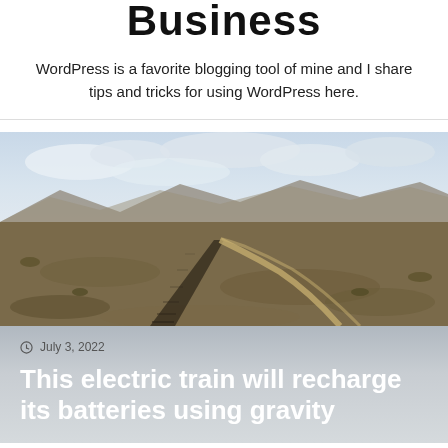Business
WordPress is a favorite blogging tool of mine and I share tips and tricks for using WordPress here.
[Figure (photo): Aerial view of a desert landscape with a straight road/railway and winding road converging, scrubby terrain, mountains in background, overcast sky.]
July 3, 2022
This electric train will recharge its batteries using gravity